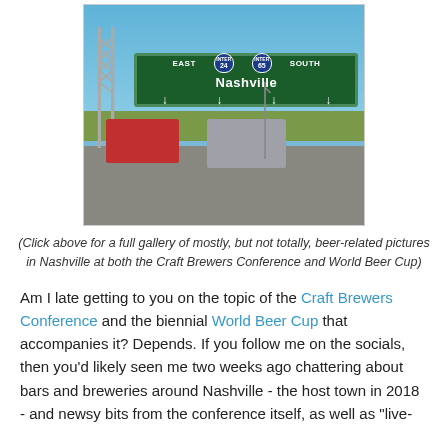[Figure (photo): Highway photo taken from inside a car showing a green highway sign reading EAST 24 SOUTH 65 Nashville with arrows pointing down, with a red pickup truck and gray sedan visible on the road, blue sky background.]
(Click above for a full gallery of mostly, but not totally, beer-related pictures in Nashville at both the Craft Brewers Conference and World Beer Cup)
Am I late getting to you on the topic of the Craft Brewers Conference and the biennial World Beer Cup that accompanies it? Depends. If you follow me on the socials, then you'd likely seen me two weeks ago chattering about bars and breweries around Nashville - the host town in 2018 - and newsy bits from the conference itself, as well as "live-